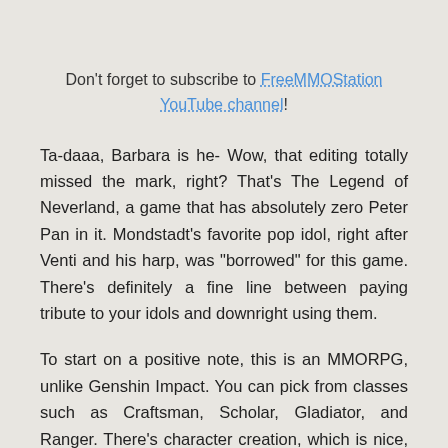Don't forget to subscribe to FreeMMOStation YouTube channel!
Ta-daaa, Barbara is he- Wow, that editing totally missed the mark, right? That's The Legend of Neverland, a game that has absolutely zero Peter Pan in it. Mondstadt's favorite pop idol, right after Venti and his harp, was "borrowed" for this game. There's definitely a fine line between paying tribute to your idols and downright using them.
To start on a positive note, this is an MMORPG, unlike Genshin Impact. You can pick from classes such as Craftsman, Scholar, Gladiator, and Ranger. There's character creation, which is nice, but it feels awfully